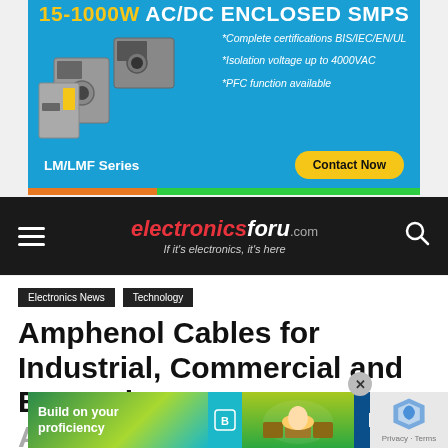[Figure (photo): Advertisement banner for LM/LMF Series AC/DC Enclosed SMPS power supplies (15-1000W). Blue background with product images on left, bullet points listing certifications and features, and a Contact Now CTA button.]
electronicsforu.com — If it's electronics, it's here
Electronics News
Technology
Amphenol Cables for Industrial, Commercial and Enterprise App
[Figure (photo): Bottom advertisement banner: 'Build on your proficiency' with people in background and M logo.]